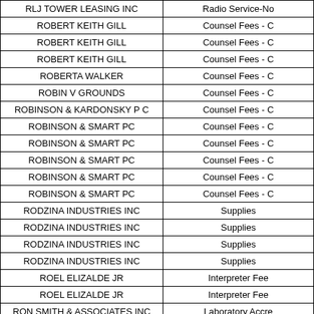| Vendor Name | Description |
| --- | --- |
| RLJ TOWER LEASING INC | Radio Service-No |
| ROBERT KEITH GILL | Counsel Fees - C |
| ROBERT KEITH GILL | Counsel Fees - C |
| ROBERT KEITH GILL | Counsel Fees - C |
| ROBERTA WALKER | Counsel Fees - C |
| ROBIN V GROUNDS | Counsel Fees - C |
| ROBINSON & KARDONSKY P C | Counsel Fees - C |
| ROBINSON & SMART PC | Counsel Fees - C |
| ROBINSON & SMART PC | Counsel Fees - C |
| ROBINSON & SMART PC | Counsel Fees - C |
| ROBINSON & SMART PC | Counsel Fees - C |
| ROBINSON & SMART PC | Counsel Fees - C |
| RODZINA INDUSTRIES INC | Supplies |
| RODZINA INDUSTRIES INC | Supplies |
| RODZINA INDUSTRIES INC | Supplies |
| RODZINA INDUSTRIES INC | Supplies |
| ROEL ELIZALDE JR | Interpreter Fee |
| ROEL ELIZALDE JR | Interpreter Fee |
| RON SMITH & ASSOCIATES INC | Laboratory Accre |
| ROSE ANNA SALINAS | Counsel Fees - C |
| ROY GOLSAN | Counsel Fees - P |
| ROY GOLSAN | Counsel Fees - P |
| RUSH TRUCK CENTERS OF TEXAS LP | Parts and Suppl |